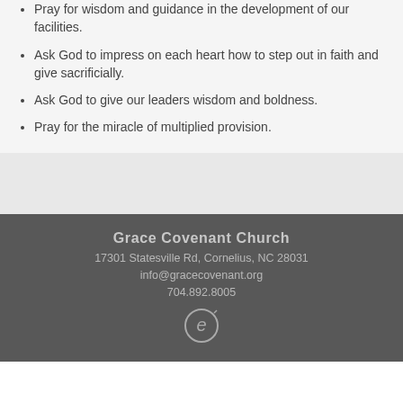Pray for wisdom and guidance in the development of our facilities.
Ask God to impress on each heart how to step out in faith and give sacrificially.
Ask God to give our leaders wisdom and boldness.
Pray for the miracle of multiplied provision.
Grace Covenant Church
17301 Statesville Rd, Cornelius, NC 28031
info@gracecovenant.org
704.892.8005